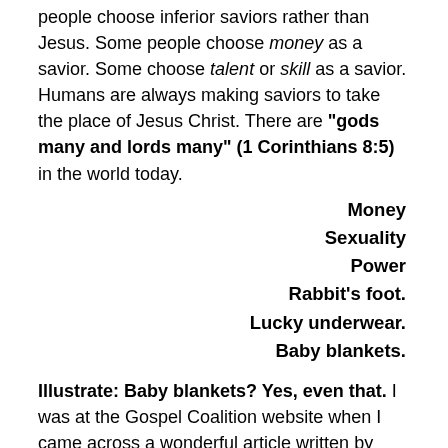people choose inferior saviors rather than Jesus. Some people choose money as a savior. Some choose talent or skill as a savior. Humans are always making saviors to take the place of Jesus Christ. There are "gods many and lords many" (1 Corinthians 8:5) in the world today.
Money
Sexuality
Power
Rabbit's foot.
Lucky underwear.
Baby blankets.
Illustrate: Baby blankets? Yes, even that. I was at the Gospel Coalition website when I came across a wonderful article written by Jason Soroski on the "Charlie Brown Christmas Special". This wonderful animation has been